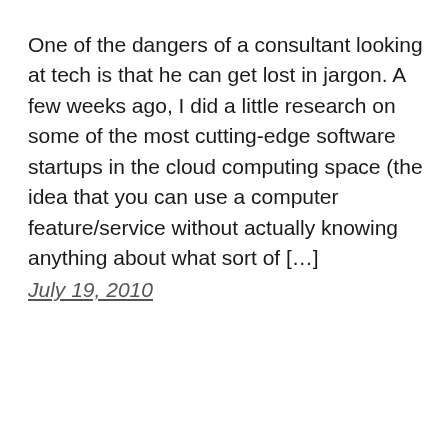One of the dangers of a consultant looking at tech is that he can get lost in jargon. A few weeks ago, I did a little research on some of the most cutting-edge software startups in the cloud computing space (the idea that you can use a computer feature/service without actually knowing anything about what sort of […]
July 19, 2010